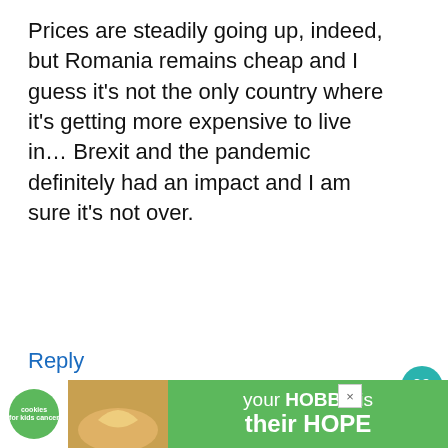Prices are steadily going up, indeed, but Romania remains cheap and I guess it’s not the only country where it’s getting more expensive to live in… Brexit and the pandemic definitely had an impact and I am sure it’s not over.
Reply
17
Mehmet Emrecan
[Figure (screenshot): Advertisement banner for cookies for kids cancer: your HOBBY is their HOPE]